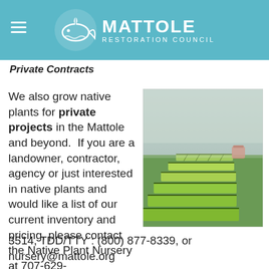MATTOLE RESTORATION COUNCIL
Private Contracts
We also grow native plants for private projects in the Mattole and beyond.  If you are a landowner, contractor, agency or just interested in native plants and would like a list of our current inventory and pricing, please contact the Native Plant Nursery at 707-629-3514, TDD/TTY : (800) 877-8339, or nursery@mattole.org
[Figure (photo): Aerial view of rows of native plant seedling trays arranged in a green field on a misty day, with a pink object visible in the background.]